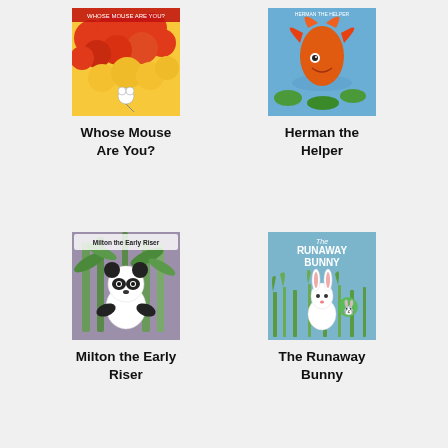[Figure (illustration): Book cover of 'Whose Mouse Are You?' showing colorful red and yellow cloud-like shapes with a small mouse figure]
Whose Mouse Are You?
[Figure (illustration): Book cover of 'Herman the Helper' showing a colorful fish or sea creature with orange flames or fins against a blue water background]
Herman the Helper
[Figure (illustration): Book cover of 'Milton the Early Riser' showing a panda bear among green bamboo plants]
Milton the Early Riser
[Figure (illustration): Book cover of 'The Runaway Bunny' showing a white bunny among green grass on a blue-green background]
The Runaway Bunny